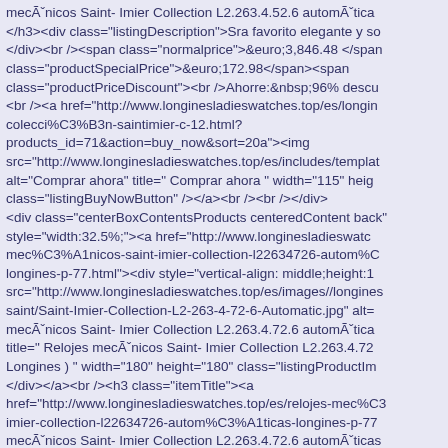mecÃˇnicos Saint- Imier Collection L2.263.4.52.6 automÃˇtica </h3><div class="listingDescription">Sra favorito elegante y so </div><br /><span class="normalprice">&euro;3,846.48 </span class="productSpecialPrice">&euro;172.98</span><span class="productPriceDiscount"><br />Ahorre:&nbsp;96% descu <br /><a href="http://www.longinesladieswatches.top/es/longin colecci%C3%B3n-saintimier-c-12.html? products_id=71&action=buy_now&sort=20a"><img src="http://www.longinesladieswatches.top/es/includes/templat alt="Comprar ahora" title=" Comprar ahora " width="115" heig class="listingBuyNowButton" /></a><br /><br /></div> <div class="centerBoxContentsProducts centeredContent back" style="width:32.5%;"><a href="http://www.longinesladiesswatch mec%C3%A1nicos-saint-imier-collection-l22634726-autom%C longines-p-77.html"><div style="vertical-align: middle;height:1 src="http://www.longinesladieswatches.top/es/images//longines saint/Saint-Imier-Collection-L2-263-4-72-6-Automatic.jpg" alt= mecÃˇnicos Saint- Imier Collection L2.263.4.72.6 automÃˇtica title=" Relojes mecÃˇnicos Saint- Imier Collection L2.263.4.72 Longines ) " width="180" height="180" class="listingProductIm </div></a><br /><h3 class="itemTitle"><a href="http://www.longinesladieswatches.top/es/relojes-mec%C3 imier-collection-l22634726-autom%C3%A1ticas-longines-p-77 mecÃˇnicos Saint- Imier Collection L2.263.4.72.6 automÃˇticas </h3><div class="listingDescription">Tono de plata exuda tem